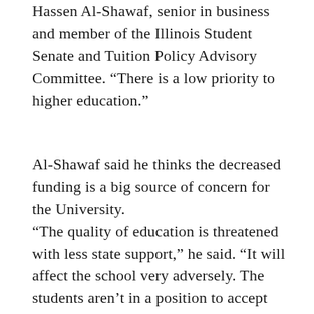Hassen Al-Shawaf, senior in business and member of the Illinois Student Senate and Tuition Policy Advisory Committee. “There is a low priority to higher education.”
Al-Shawaf said he thinks the decreased funding is a big source of concern for the University. “The quality of education is threatened with less state support,” he said. “It will affect the school very adversely. The students aren’t in a position to accept tuition increases year after year.”
The tuition for the current year totaled approximately $277 million as opposed to state